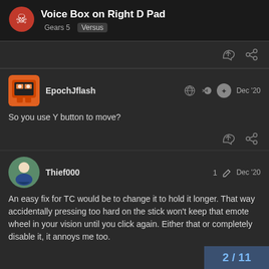Voice Box on Right D Pad — Gears 5 | Versus
So you use Y button to move?
An easy fix for TC would be to change it to hold it longer. That way accidentally pressing too hard on the stick won't keep that emote wheel in your vision until you click again. Either that or completely disable it, it annoys me too.
2 / 11